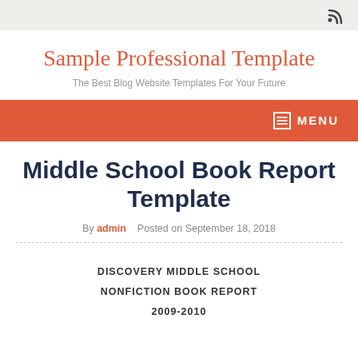Sample Professional Template
The Best Blog Website Templates For Your Future
MENU
Middle School Book Report Template
By admin   Posted on September 18, 2018
DISCOVERY MIDDLE SCHOOL
NONFICTION BOOK REPORT
2009-2010